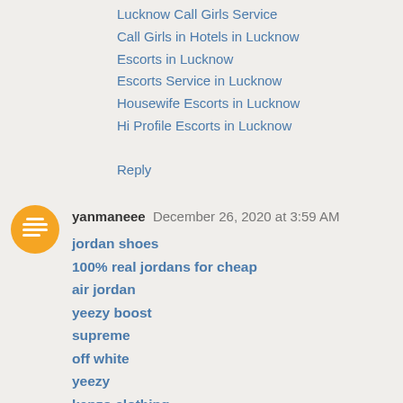Lucknow Call Girls Service
Call Girls in Hotels in Lucknow
Escorts in Lucknow
Escorts Service in Lucknow
Housewife Escorts in Lucknow
Hi Profile Escorts in Lucknow
Reply
yanmaneee   December 26, 2020 at 3:59 AM
jordan shoes
100% real jordans for cheap
air jordan
yeezy boost
supreme
off white
yeezy
kenzo clothing
nike sb dunks
kd shoes